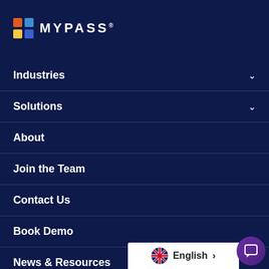[Figure (logo): MyPass logo with colorful grid icon and white text MYPASS with registered trademark]
Industries
Solutions
About
Join the Team
Contact Us
Book Demo
News & Resources
Press
Media Kit
English